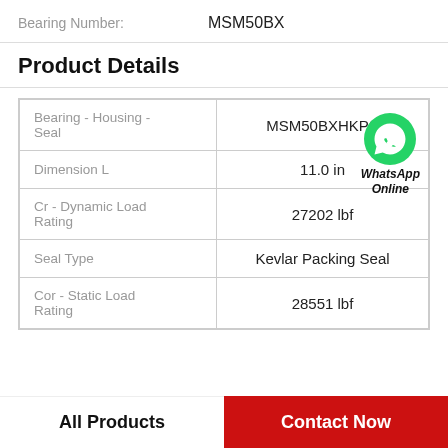Bearing Number: MSM50BX
Product Details
| Property | Value |
| --- | --- |
| Bearing - Housing - Seal | MSM50BXHKPS |
| Dimension L | 11.0 in |
| Cr - Dynamic Load Rating | 27202 lbf |
| Seal Type | Kevlar Packing Seal |
| Cor - Static Load Rating | 28551 lbf |
All Products
Contact Now